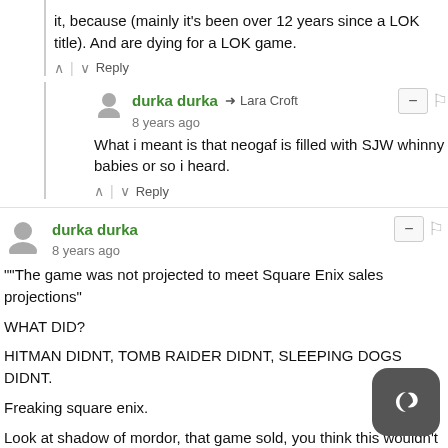it, because (mainly it's been over 12 years since a LOK title). And are dying for a LOK game.
^ | v Reply
durka durka → Lara Croft
8 years ago
What i meant is that neogaf is filled with SJW whinny babies or so i heard.
^ | v Reply
durka durka
8 years ago
""The game was not projected to meet Square Enix sales projections"

WHAT DID?

HITMAN DIDNT, TOMB RAIDER DIDNT, SLEEPING DOGS DIDNT.

Freaking square enix.

Look at shadow of mordor, that game sold, you think this wouldn't
[Figure (illustration): Dark crescent moon icon button in bottom right corner]